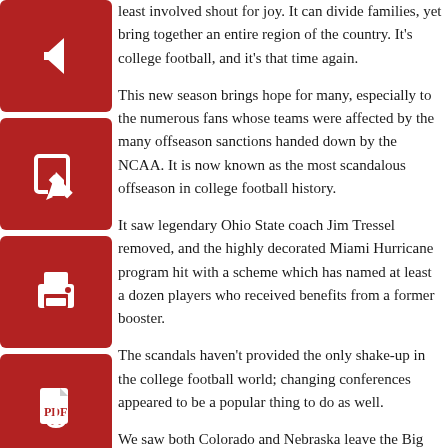least involved shout for joy. It can divide families, yet bring together an entire region of the country. It’s college football, and it’s that time again.
This new season brings hope for many, especially to the numerous fans whose teams were affected by the many offseason sanctions handed down by the NCAA. It is now known as the most scandalous offseason in college football history.
It saw legendary Ohio State coach Jim Tressel removed, and the highly decorated Miami Hurricane program hit with a scheme which has named at least a dozen players who received benefits from a former booster.
The scandals haven’t provided the only shake-up in the college football world; changing conferences appeared to be a popular thing to do as well.
We saw both Colorado and Nebraska leave the Big 12 Conference; Colorado and Utah joined the Pacific-10, which is now known as the Pacific-12.
Texas powerhouse TCU will join the Big East next year, which makes no sense geographically, but will give them tougher competition. Often overlooked but annually strong Boise St. moved from the Western Athletic Conference to the Mountain West.
The Southeastern Conference was one of the few conferences that saw no change, despite a request from Texas A&M to join.